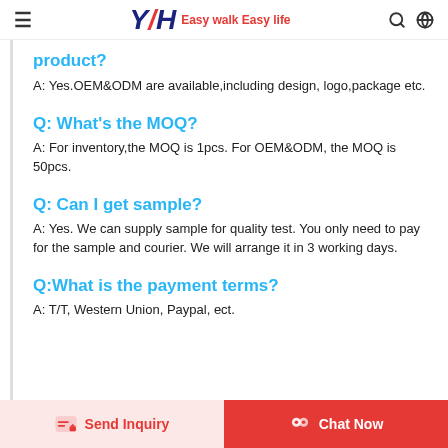YH Easy walk Easy life
product?
A: Yes.OEM&ODM are available,including design, logo,package etc.
Q: What’s the MOQ?
A: For inventory,the MOQ is 1pcs. For OEM&ODM, the MOQ is 50pcs.
Q: Can I get sample?
A: Yes. We can supply sample for quality test. You only need to pay for the sample and courier. We will arrange it in 3 working days.
Q:What is the payment terms?
A: T/T, Western Union, Paypal, ect.
Send Inquiry | Chat Now